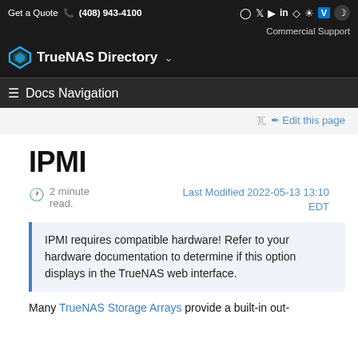Get a Quote (408) 943-4100 Commercial Support TrueNAS Directory Docs Navigation
✎ Edit this page
IPMI
2 minute read. Last Modified 2022-05-13 13:10 EDT
IPMI requires compatible hardware! Refer to your hardware documentation to determine if this option displays in the TrueNAS web interface.
Many TrueNAS Storage Arrays provide a built-in out-